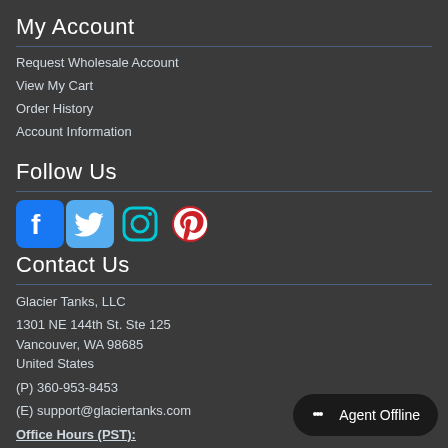My Account
Request Wholesale Account
View My Cart
Order History
Account Information
Follow Us
[Figure (infographic): Social media icons row: Facebook (blue), Twitter (light blue), Instagram (cyan/teal outline), Pinterest (red/crimson)]
Contact Us
Glacier Tanks, LLC
1301 NE 144th St. Ste 125
Vancouver, WA 98685
United States
(P) 360-953-8453
(E) support@glaciertanks.com
Office Hours (PST):
Mon - Fri 8:00am - 5:00pm